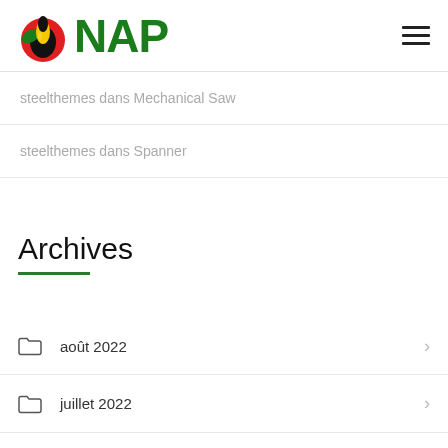ONAP
steelthemes dans Mechanical Saw
steelthemes dans Spanner
Archives
août 2022
juillet 2022